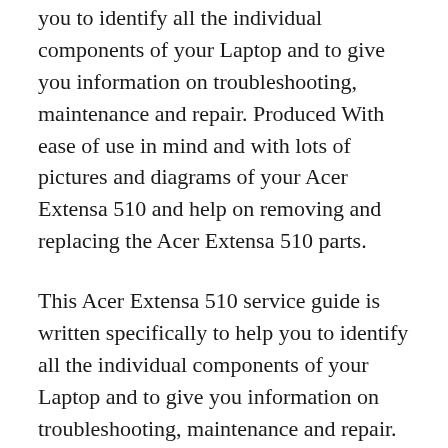you to identify all the individual components of your Laptop and to give you information on troubleshooting, maintenance and repair. Produced With ease of use in mind and with lots of pictures and diagrams of your Acer Extensa 510 and help on removing and replacing the Acer Extensa 510 parts.
This Acer Extensa 510 service guide is written specifically to help you to identify all the individual components of your Laptop and to give you information on troubleshooting, maintenance and repair. Produced With ease of use in mind and with lots of pictures and diagrams of your Acer Extensa 510 and help on removing and replacing the Acer Extensa 510